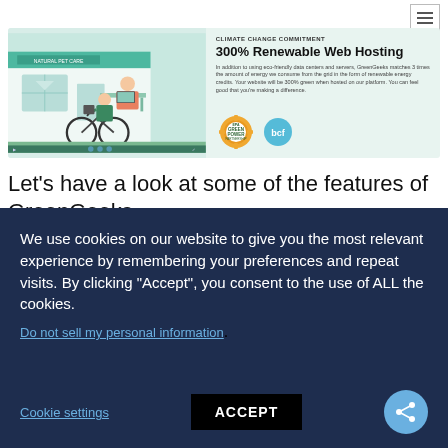[Figure (screenshot): A web page screenshot showing a GreenGeeks advertisement banner with an illustration of a bicycle courier and store scene on the left, and text '300% Renewable Web Hosting' with EPA Green Power Partnership and bcf logos on the right.]
Let's have a look at some of the features of GreenGeeks.
We use cookies on our website to give you the most relevant experience by remembering your preferences and repeat visits. By clicking "Accept", you consent to the use of ALL the cookies.
Do not sell my personal information.
Cookie settings
ACCEPT